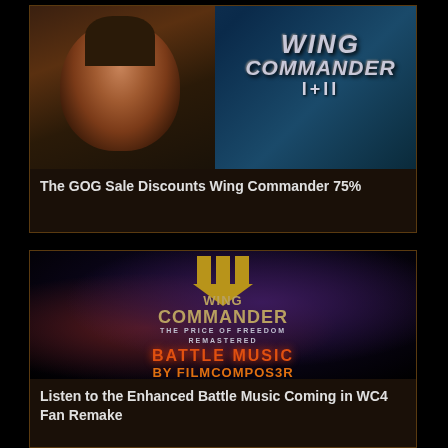[Figure (screenshot): Wing Commander I+II game cover art showing a character's face on the left and the game title text on the right against a blue space background]
The GOG Sale Discounts Wing Commander 75%
[Figure (screenshot): Wing Commander IV: The Price of Freedom Remastered promotional image with golden emblem and red text saying Battle Music By Filmcompos3r against a purple/dark space background]
Listen to the Enhanced Battle Music Coming in WC4 Fan Remake